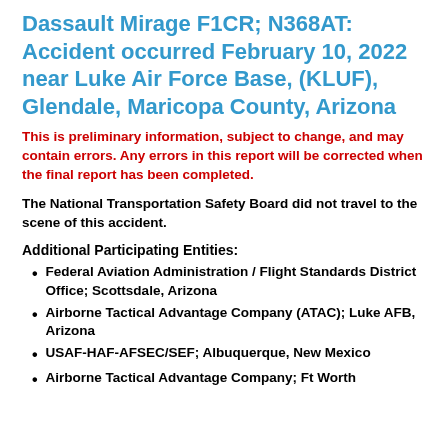Dassault Mirage F1CR; N368AT: Accident occurred February 10, 2022 near Luke Air Force Base, (KLUF), Glendale, Maricopa County, Arizona
This is preliminary information, subject to change, and may contain errors. Any errors in this report will be corrected when the final report has been completed.
The National Transportation Safety Board did not travel to the scene of this accident.
Additional Participating Entities:
Federal Aviation Administration / Flight Standards District Office; Scottsdale, Arizona
Airborne Tactical Advantage Company (ATAC); Luke AFB, Arizona
USAF-HAF-AFSEC/SEF; Albuquerque, New Mexico
Airborne Tactical Advantage Company; Ft Worth